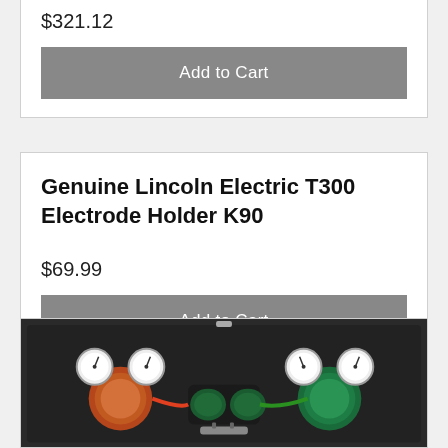$321.12
Add to Cart
Genuine Lincoln Electric T300 Electrode Holder K90
$69.99
Add to Cart
[Figure (photo): Welding gas kit in a black carrying case, showing two regulators with gauges, green welding goggles, torch, and fittings]